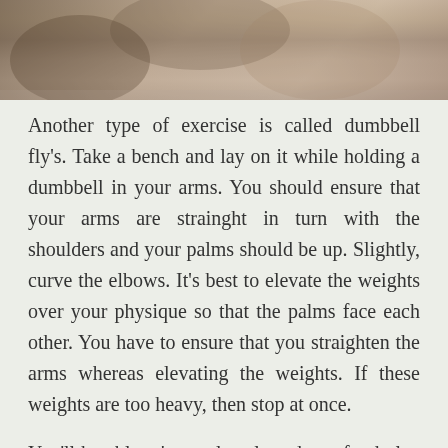[Figure (photo): Cropped photo at top of page showing a person exercising with dumbbells, partially visible, grayscale/sepia toned]
Another type of exercise is called dumbbell fly's. Take a bench and lay on it while holding a dumbbell in your arms. You should ensure that your arms are strainght in turn with the shoulders and your palms should be up. Slightly, curve the elbows. It's best to elevate the weights over your physique so that the palms face each other. You have to ensure that you straighten the arms whereas elevating the weights. If these weights are too heavy, then stop at once.
You'll be able to't merely selected any food plan and get began; it doesn't work that means sadly. In order for the eating regimen to truly get rid of cellulite, it needs to be comprised of foods that may actively